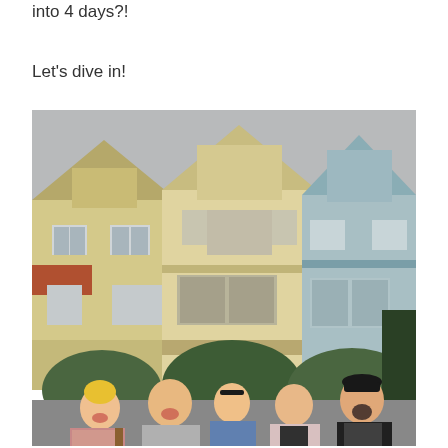into 4 days?!
Let's dive in!
[Figure (photo): Five young people posing and smiling in front of the Painted Ladies Victorian houses in San Francisco. The group includes people wearing casual clothing. The sky is overcast.]